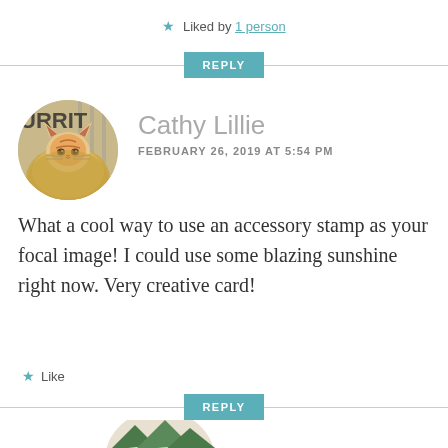★ Liked by 1 person
REPLY
[Figure (photo): Circular avatar photo of a cat wrapped in a yellow towel, with text BURRITO partially visible behind it]
Cathy Lillie
FEBRUARY 26, 2019 AT 5:54 PM
What a cool way to use an accessory stamp as your focal image! I could use some blazing sunshine right now. Very creative card!
★ Like
REPLY
[Figure (photo): Partial view of another circular avatar showing green mountain/nature image at the bottom of the page]